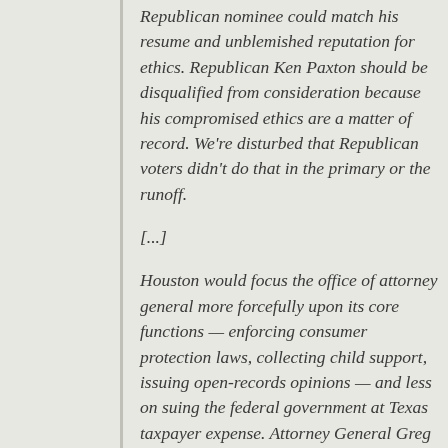Republican nominee could match his resume and unblemished reputation for ethics. Republican Ken Paxton should be disqualified from consideration because his compromised ethics are a matter of record. We're disturbed that Republican voters didn't do that in the primary or the runoff.
[...]
Houston would focus the office of attorney general more forcefully upon its core functions — enforcing consumer protection laws, collecting child support, issuing open-records opinions — and less on suing the federal government at Texas taxpayer expense. Attorney General Greg Abbott famously sued the government to obstruct environmental